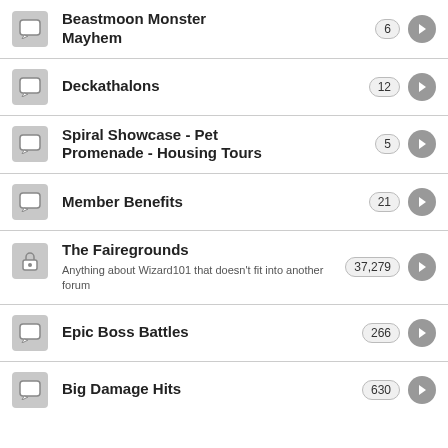Beastmoon Monster Mayhem - 6
Deckathalons - 12
Spiral Showcase - Pet Promenade - Housing Tours - 5
Member Benefits - 21
The Fairegrounds - Anything about Wizard101 that doesn't fit into another forum - 37,279
Epic Boss Battles - 266
Big Damage Hits - 630